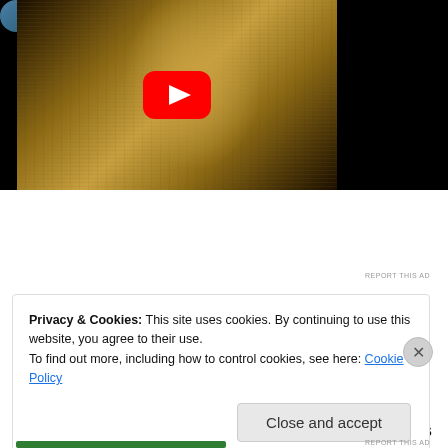[Figure (screenshot): YouTube video thumbnail showing a sepia-toned portrait of a person overlaid with handwritten text, with a YouTube play button in the center. Black bars on left and right sides.]
[Figure (screenshot): Pocket Casts advertisement banner with dark app screenshot image on left, text 'Your next favorite podcast is here.' in the center, and the Pocket Casts logo and name on the right.]
REPORT THIS AD
Privacy & Cookies: This site uses cookies. By continuing to use this website, you agree to their use.
To find out more, including how to control cookies, see here: Cookie Policy
Close and accept